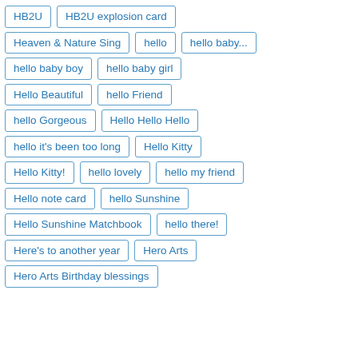HB2U
HB2U explosion card
Heaven & Nature Sing
hello
hello baby...
hello baby boy
hello baby girl
Hello Beautiful
hello Friend
hello Gorgeous
Hello Hello Hello
hello it's been too long
Hello Kitty
Hello Kitty!
hello lovely
hello my friend
Hello note card
hello Sunshine
Hello Sunshine Matchbook
hello there!
Here's to another year
Hero Arts
Hero Arts Birthday blessings